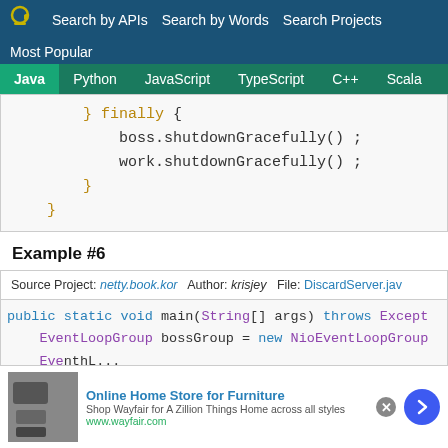Search by APIs   Search by Words   Search Projects   Most Popular
Java   Python   JavaScript   TypeScript   C++   Scala
[Figure (screenshot): Code snippet showing: } finally { boss.shutdownGracefully() ; work.shutdownGracefully() ; } }]
Example #6
Source Project: netty.book.kor   Author: krisjey   File: DiscardServer.java
[Figure (screenshot): Code snippet: public static void main(String[] args) throws Except... EventLoopGroup bossGroup = new NioEventLoopGroup...]
[Figure (other): Advertisement: Online Home Store for Furniture - Shop Wayfair for A Zillion Things Home across all styles. www.wayfair.com]